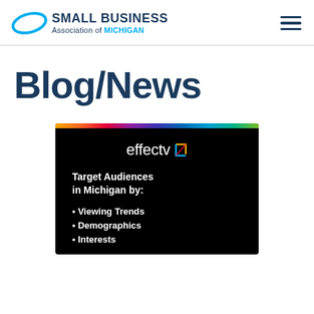[Figure (logo): Small Business Association of Michigan logo with teal ellipse swoosh graphic and text]
Blog/News
[Figure (infographic): Effectv advertisement on black background with rainbow bar at top. Text reads: effectv. Target Audiences in Michigan by: • Viewing Trends • Demographics • Interests]